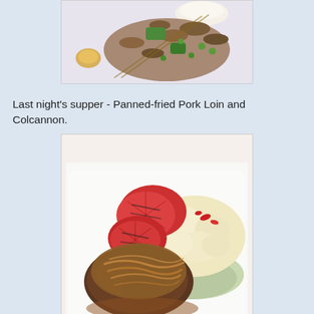[Figure (photo): Partial view of a stir-fry dish with mushrooms, green peppers, peas and rice on a white plate]
Last night's supper - Panned-fried Pork Loin and Colcannon.
[Figure (photo): Pan-fried pork loin topped with caramelized onions, served with colcannon (mashed potato with cabbage), grilled tomato slices, and red chili on a white plate]